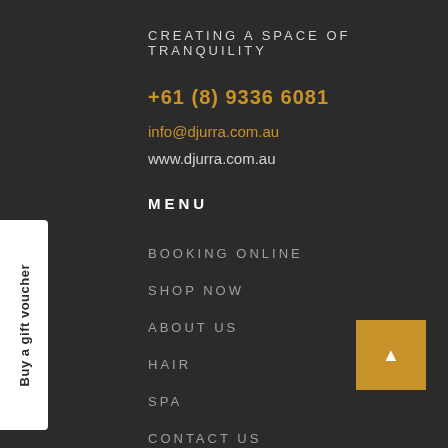CREATING A SPACE OF TRANQUILITY
+61 (8) 9336 6081
info@djurra.com.au
www.djurra.com.au
MENU
BOOKING ONLINE
SHOP NOW
ABOUT US
HAIR
SPA
CONTACT US
Buy a gift voucher